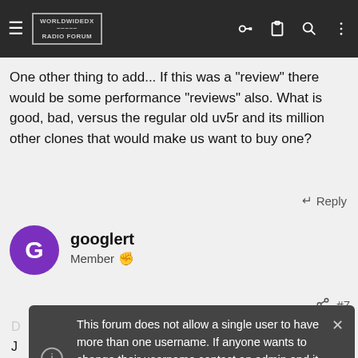WorldwideDX Radio Forum
One other thing to add... If this was a "review" there would be some performance "reviews" also. What is good, bad, versus the regular old uv5r and its million other clones that would make us want to buy one?
↩ Reply
googlert
Member
🔗 #7
This forum does not allow a single user to have more than one username. If anyone wants to change their username contact an admin and it will be done. Multiple accounts belonging to the same member will be deleted without warning.
Radio Frequency IC
CT 3:Radio Frequency IC